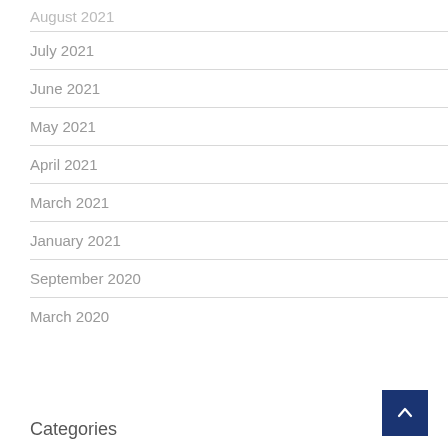August 2021
July 2021
June 2021
May 2021
April 2021
March 2021
January 2021
September 2020
March 2020
Categories